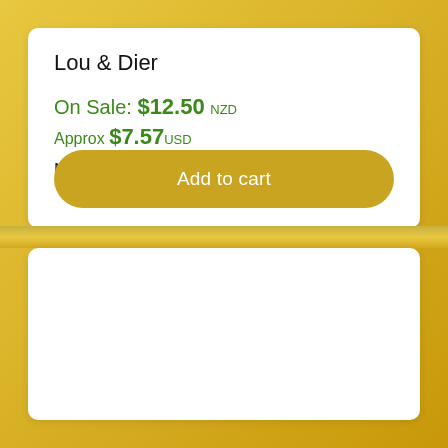Lou & Dier
On Sale: $12.50 NZD
Approx $7.57 USD
Normally: $49.99
Add to cart